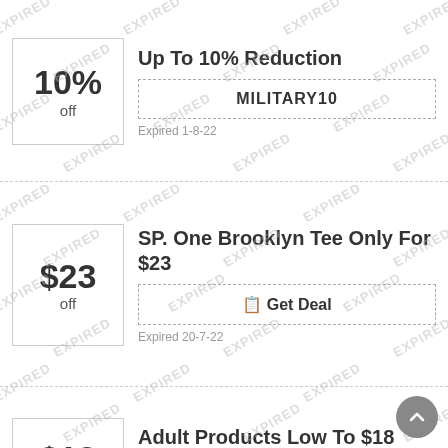[Figure (infographic): Coupon: 10% off, code MILITARY10, Expired 1-8-22]
[Figure (infographic): Coupon: $23 off, SP. One Brooklyn Tee Only For $23, Get Deal, Expired 20-7-22]
[Figure (infographic): Coupon: $18 off, Adult Products Low To $18, Get Deal (partially visible)]